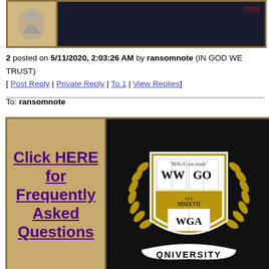[Figure (illustration): Top banner with logo/mascot on tan background left panel and dark navy right panel with a red 'more' link]
2 posted on 5/11/2020, 2:03:26 AM by ransomnote (IN GOD WE TRUST) [ Post Reply | Private Reply | To 1 | View Replies]
To: ransomnote
[Figure (illustration): Bottom panel with left tan section containing 'Click HERE for Frequently Asked Questions' link in purple bold underline, and right dark section with WWGO/WGA Qniversity crest logo on black background]